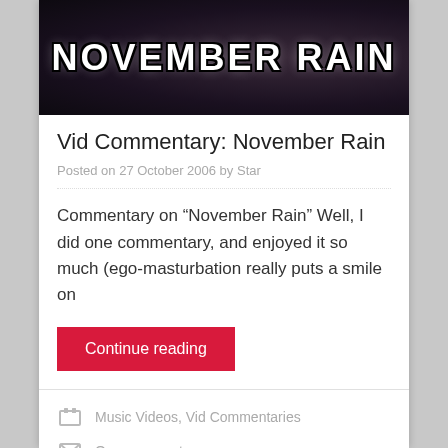[Figure (illustration): Dark banner image with text 'NOVEMBER RAIN' in white bold letters with black outline on a dark purple/black background]
Vid Commentary: November Rain
Posted on 27 October 2006 by Star
Commentary on “November Rain” Well, I did one commentary, and enjoyed it so much (ego-masturbation really puts a smile on
Continue reading
Music Videos, Vid Commentaries
One comment